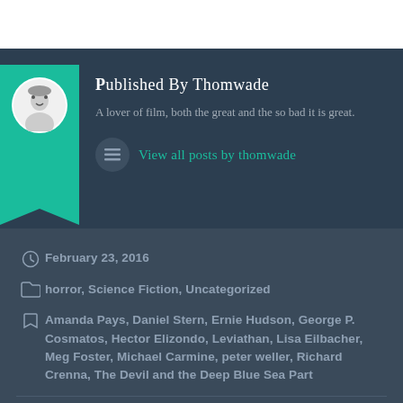Published by thomwade
A lover of film, both the great and the so bad it is great.
View all posts by thomwade
February 23, 2016
horror, Science Fiction, Uncategorized
Amanda Pays, Daniel Stern, Ernie Hudson, George P. Cosmatos, Hector Elizondo, Leviathan, Lisa Eilbacher, Meg Foster, Michael Carmine, peter weller, Richard Crenna, The Devil and the Deep Blue Sea Part